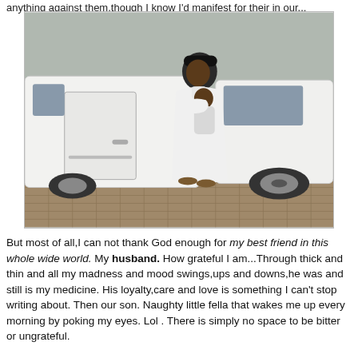anything against them,though I know I'd manifest for their in our...
[Figure (photo): A man dressed in a white traditional outfit and black cap holds a young child next to a white SUV parked on a paved brick surface.]
But most of all,I can not thank God enough for my best friend in this whole wide world. My husband. How grateful I am...Through thick and thin and all my madness and mood swings,ups and downs,he was and still is my medicine. His loyalty,care and love is something I can't stop writing about. Then our son. Naughty little fella that wakes me up every morning by poking my eyes. Lol . There is simply no space to be bitter or ungrateful.